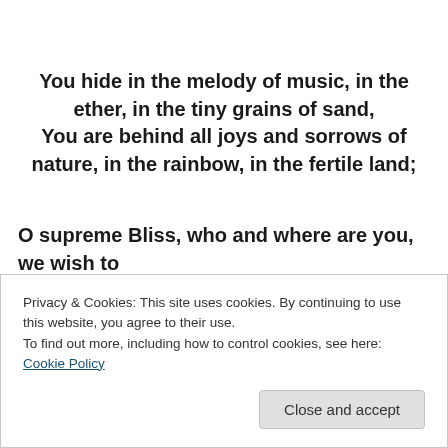You hide in the melody of music, in the ether, in the tiny grains of sand,
You are behind all joys and sorrows of nature, in the rainbow, in the fertile land;
O supreme Bliss, who and where are you, we wish to
Privacy & Cookies: This site uses cookies. By continuing to use this website, you agree to their use.
To find out more, including how to control cookies, see here: Cookie Policy
Close and accept